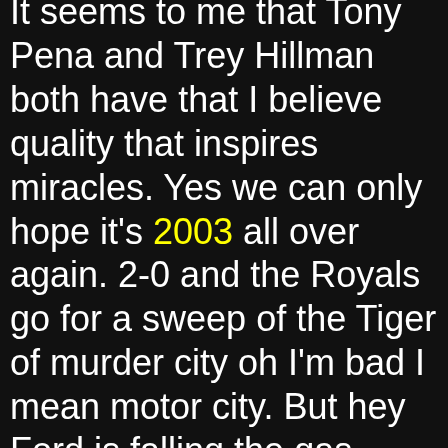It seems to me that Tony Pena and Trey Hillman both have that I believe quality that inspires miracles. Yes we can only hope it's 2003 all over again. 2-0 and the Royals go for a sweep of the Tiger of murder city oh I'm bad I mean motor city. But hey Ford is falling the gas prices are rising and the murder's row of the Detroit lineup is falling victim to the Royals for the first time since